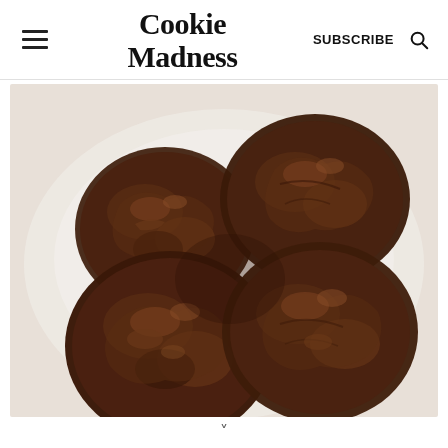Cookie Madness | SUBSCRIBE
[Figure (photo): Four large dark chocolate brownie-style cookies arranged on a white plate, viewed from above. The cookies are fudgy and crinkled with a shiny surface.]
v